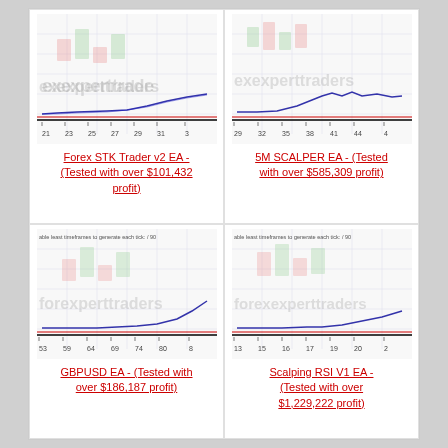[Figure (continuous-plot): Forex STK Trader v2 EA equity/balance curve chart with forexexperttraders watermark and candlestick logo, x-axis labels: 21 23 25 27 29 31 3]
Forex STK Trader v2 EA - (Tested with over $101,432 profit)
[Figure (continuous-plot): 5M SCALPER EA equity/balance curve chart with forexexperttraders watermark and candlestick logo, x-axis labels: 29 32 35 38 41 44 4]
5M SCALPER EA - (Tested with over $585,309 profit)
[Figure (continuous-plot): GBPUSD EA equity/balance curve chart with forexexperttraders watermark, tick quality bar and candlestick logo, x-axis labels: 53 59 64 69 74 80 8]
GBPUSD EA - (Tested with over $186,187 profit)
[Figure (continuous-plot): Scalping RSI V1 EA equity/balance curve chart with forexexperttraders watermark, tick quality bar and candlestick logo, x-axis labels: 13 15 16 17 19 20 2]
Scalping RSI V1 EA - (Tested with over $1,229,222 profit)